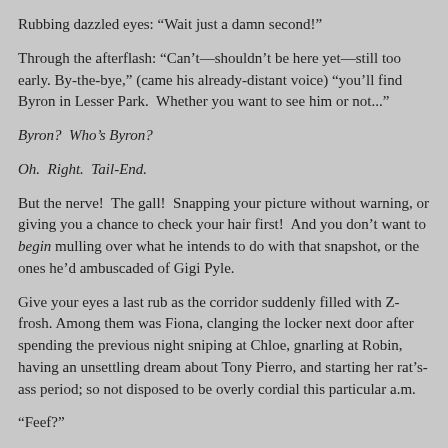Rubbing dazzled eyes: “Wait just a damn second!”
Through the afterflash: “Can’t—shouldn’t be here yet—still too early. By-the-bye,” (came his already-distant voice) “you’ll find Byron in Lesser Park.  Whether you want to see him or not...”
Byron?  Who’s Byron?
Oh.  Right.  Tail-End.
But the nerve!  The gall!  Snapping your picture without warning, or giving you a chance to check your hair first!  And you don’t want to begin mulling over what he intends to do with that snapshot, or the ones he’d ambuscaded of Gigi Pyle.
Give your eyes a last rub as the corridor suddenly filled with Z-frosh. Among them was Fiona, clanging the locker next door after spending the previous night sniping at Chloe, gnarling at Robin, having an unsettling dream about Tony Pierro, and starting her rat’s-ass period; so not disposed to be overly cordial this particular a.m.
“Feef?”
“(No.)”
“But Feef—”